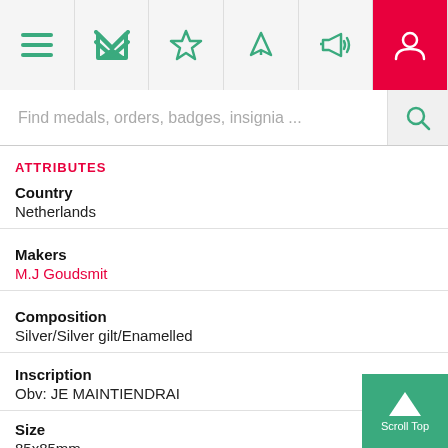[Figure (screenshot): Mobile app navigation bar with icons: hamburger menu, stylized M logo, star, navigation arrow, megaphone, and active user profile icon (pink background)]
Find medals, orders, badges, insignia ...
ATTRIBUTES
Country
Netherlands
Makers
M.J Goudsmit
Composition
Silver/Silver gilt/Enamelled
Inscription
Obv: JE MAINTIENDRAI
Size
85x85mm
Version Remarks
These stars are of high quality manufacture, but comm...